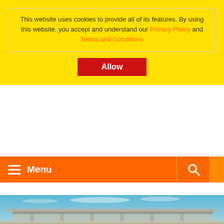This website uses cookies to provide all of its features. By using this website, you accept and understand our Privacy Policy and Terms and Conditions
Allow
Menu
[Figure (photo): Exterior photo of a modern government or civic building with a flat canopy roof supported by columns, photographed against a bright blue sky with light clouds]